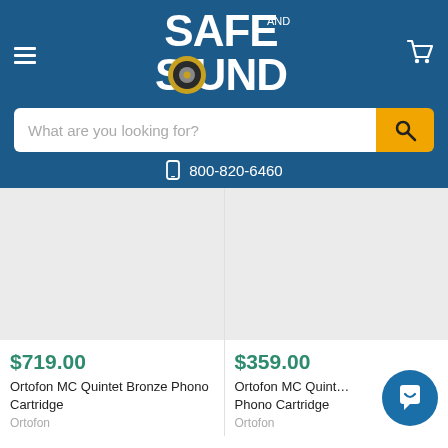Safe and Sound - navigation header with logo, search bar, and phone number 800-820-6460
$719.00
Ortofon MC Quintet Bronze Phono Cartridge
$359.00
Ortofon MC Quint... Phono Cartridge